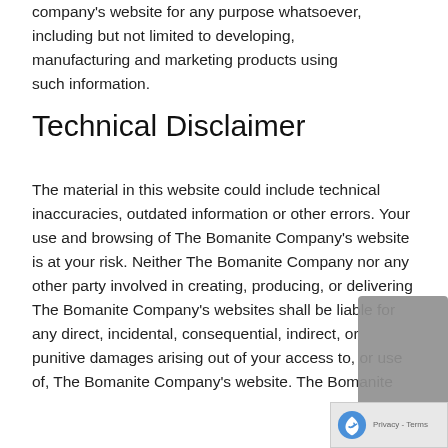company's website for any purpose whatsoever, including but not limited to developing, manufacturing and marketing products using such information.
Technical Disclaimer
The material in this website could include technical inaccuracies, outdated information or other errors. Your use and browsing of The Bomanite Company's website is at your risk. Neither The Bomanite Company nor any other party involved in creating, producing, or delivering The Bomanite Company's websites shall be liable for any direct, incidental, consequential, indirect, or punitive damages arising out of your access to, or use of, The Bomanite Company's website. The Bomanite